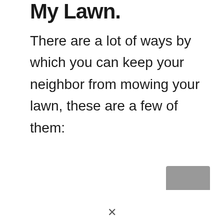My Lawn.
There are a lot of ways by which you can keep your neighbor from mowing your lawn, these are a few of them:
[Figure (other): A grey navigation button/widget in the bottom-right corner with a small upward arrow indicator below it]